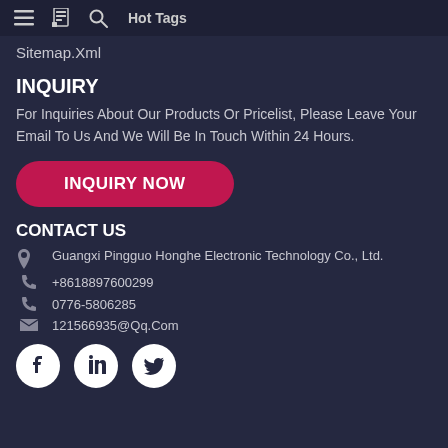Hot Tags
Sitemap.Xml
INQUIRY
For Inquiries About Our Products Or Pricelist, Please Leave Your Email To Us And We Will Be In Touch Within 24 Hours.
INQUIRY NOW
CONTACT US
Guangxi Pingguo Honghe Electronic Technology Co., Ltd.
+8618897600299
0776-5806285
121566935@Qq.Com